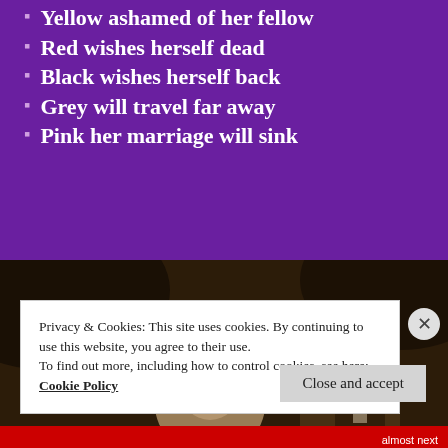Yellow ashamed of her fellow
Red wishes herself dead
Black wishes herself back
Grey will travel far away
Pink her marriage will sink
[Figure (photo): Sepia-toned vintage wedding photograph showing a bride wearing a white veil and floral headpiece on the left, and a groom with a mustache in formal attire on the right, against a dark background.]
Privacy & Cookies: This site uses cookies. By continuing to use this website, you agree to their use.
To find out more, including how to control cookies, see here:
Cookie Policy
Close and accept